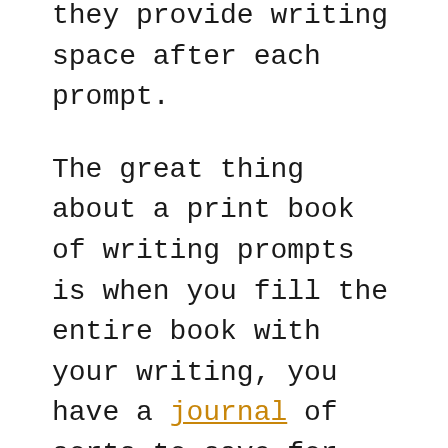they provide writing space after each prompt.
The great thing about a print book of writing prompts is when you fill the entire book with your writing, you have a journal of sorts to save for future inspiration.
The ebook options have their advantages, too, as you'll see with the fourth and fifth books listed.
Whatever you choose, the following